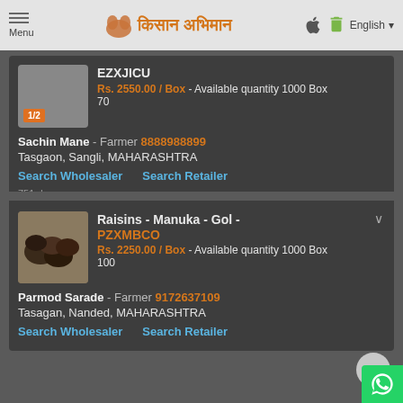Menu | किसान अभिमान | English
EZXJICO - Rs. 2550.00 / Box - Available quantity 1000 Box 70
Sachin Mane - Farmer 8888988899
Tasgaon, Sangli, MAHARASHTRA
Search Wholesaler  Search Retailer
751 days ago
Raisins - Manuka - Gol - PZXMBCO - Rs. 2250.00 / Box - Available quantity 1000 Box 100
Parmod Sarade - Farmer 9172637109
Tasagan, Nanded, MAHARASHTRA
Search Wholesaler  Search Retailer